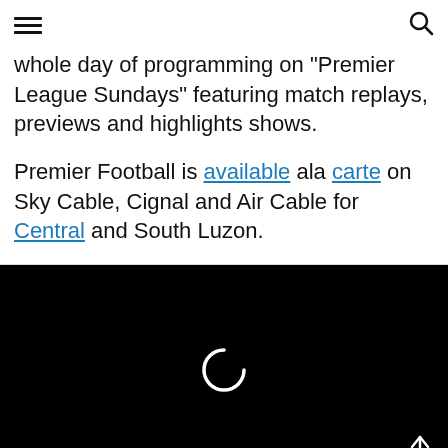Navigation header with hamburger menu and search icon
whole day of programming on “Premier League Sundays” featuring match replays, previews and highlights shows.
Premier Football is available ala carte on Sky Cable, Cignal and Air Cable for Central and South Luzon.
[Figure (screenshot): Black video player area with loading spinner arc and scroll-to-top arrow button]